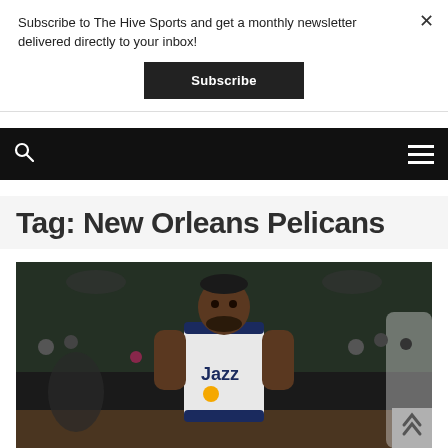Subscribe to The Hive Sports and get a monthly newsletter delivered directly to your inbox!
Subscribe
Navigation bar with search and menu icons
Tag: New Orleans Pelicans
[Figure (photo): Basketball player wearing a Utah Jazz white jersey with 'Jazz' logo, standing on court during a game with crowd in the background]